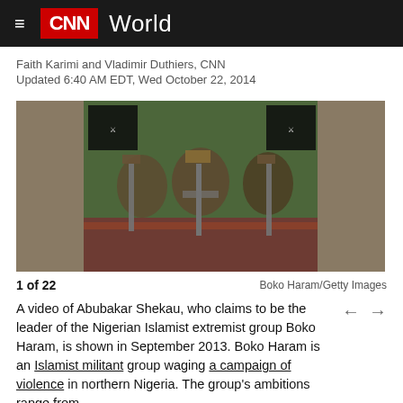CNN World
Faith Karimi and Vladimir Duthiers, CNN
Updated 6:40 AM EDT, Wed October 22, 2014
[Figure (photo): A video still of Abubakar Shekau and other Boko Haram militants sitting on a carpet holding rifles, with Boko Haram logo visible in corners. 1 of 22. Credit: Boko Haram/Getty Images]
1 of 22
Boko Haram/Getty Images
A video of Abubakar Shekau, who claims to be the leader of the Nigerian Islamist extremist group Boko Haram, is shown in September 2013. Boko Haram is an Islamist militant group waging a campaign of violence in northern Nigeria. The group's ambitions range from